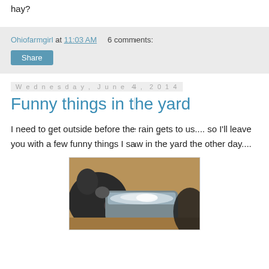hay?
Ohiofarmgirl at 11:03 AM   6 comments:
Share
Wednesday, June 4, 2014
Funny things in the yard
I need to get outside before the rain gets to us.... so I'll leave you with a few funny things I saw in the yard the other day....
[Figure (photo): Close-up photo of a pig or similar animal drinking or sniffing water from a metal trough or container outdoors.]